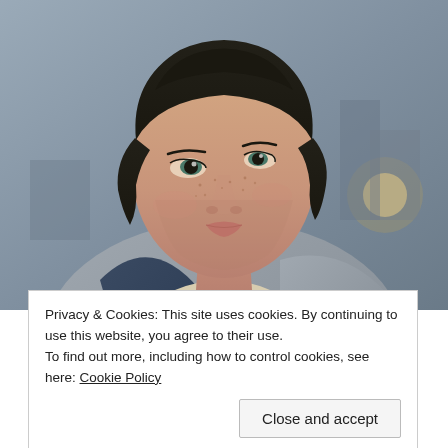[Figure (illustration): 3D rendered video game character — a young woman with dark braided hair, freckles, teal eyes, wearing a layered coat with blue and grey fabric, looking upward slightly. Background shows a blurry cityscape with grey sky and a glowing light in the background.]
Privacy & Cookies: This site uses cookies. By continuing to use this website, you agree to their use.
To find out more, including how to control cookies, see here: Cookie Policy
Close and accept